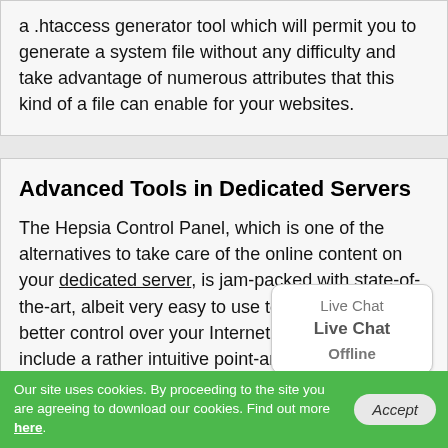a .htaccess generator tool which will permit you to generate a system file without any difficulty and take advantage of numerous attributes that this kind of a file can enable for your websites.
Advanced Tools in Dedicated Servers
The Hepsia Control Panel, which is one of the alternatives to take care of the online content on your dedicated server, is jam-packed with state-of-the-art, albeit very easy to use tools that'll give you better control over your Internet sites. They all include a rather intuitive point-and-click interface and every task they permit you to do takes no more than several mouse clicks to perform. Making a
[Figure (other): Live Chat offline speech bubble widget in bottom-right area]
Our site uses cookies. By proceeding to the site you are agreeing to download our cookies. Find out more here.  [Accept]